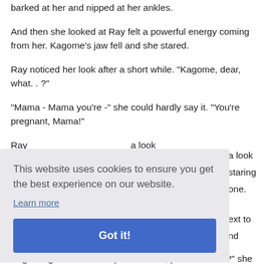barked at her and nipped at her ankles.
And then she looked at Ray felt a powerful energy coming from her. Kagome's jaw fell and she stared.
Ray noticed her look after a short while. "Kagome, dear, what. . ?"
"Mama - Mama you're -" she could hardly say it. "You're pregnant, Mama!"
Ray ... a look ... staring ... one.
... next to ... and
Kagome gave him a sharp look. "Gee, prideful much?" she
[Figure (screenshot): Cookie consent banner overlay with text 'This website uses cookies to ensure you get the best experience on our website.' with a 'Learn more' link and a blue 'Got it!' button.]